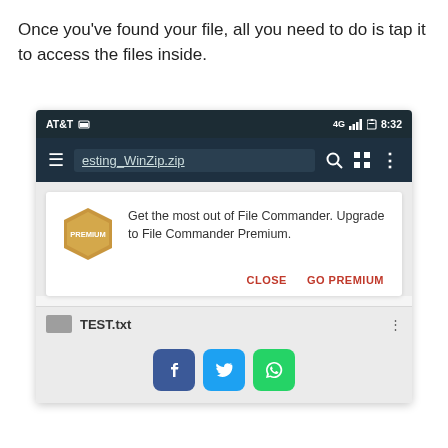Once you've found your file, all you need to do is tap it to access the files inside.
[Figure (screenshot): Android smartphone screenshot showing AT&T status bar, a file manager toolbar with 'esting_WinZip.zip' filename, a premium upgrade dialog with golden hexagon badge, CLOSE and GO PREMIUM buttons, a TEST.txt file row, and social share buttons for Facebook, Twitter, and WhatsApp.]